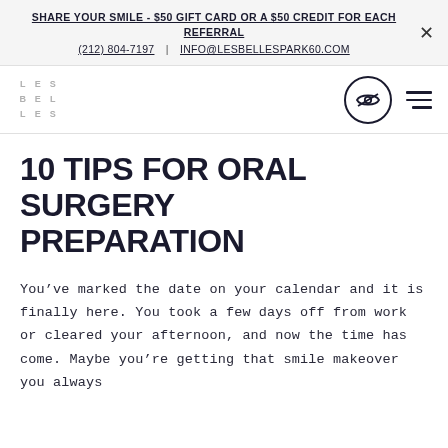SHARE YOUR SMILE - $50 GIFT CARD OR A $50 CREDIT FOR EACH REFERRAL
(212) 804-7197 | INFO@LESBELLESPARK60.COM
[Figure (logo): Les Belles logo in a 3x3 letter grid spelling L E S / B E L / L E S]
10 TIPS FOR ORAL SURGERY PREPARATION
You've marked the date on your calendar and it is finally here. You took a few days off from work or cleared your afternoon, and now the time has come. Maybe you're getting that smile makeover you always